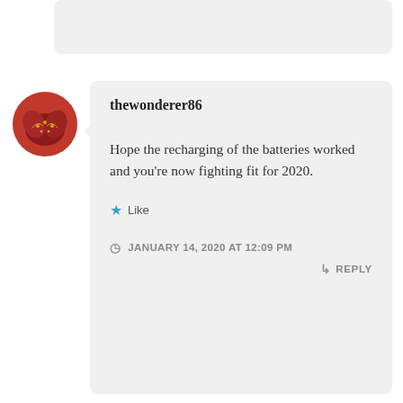[Figure (screenshot): Partial top of a previous comment card, grey rounded rectangle, partially visible]
[Figure (photo): Circular avatar photo of a person with henna-decorated hands]
thewonderer86
Hope the recharging of the batteries worked and you’re now fighting fit for 2020.
★ Like
JANUARY 14, 2020 AT 12:09 PM
REPLY